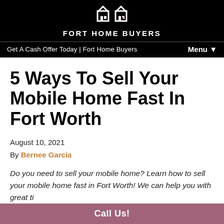FORT HOME BUYERS
Get A Cash Offer Today | Fort Home Buyers   Menu ▼
5 Ways To Sell Your Mobile Home Fast In Fort Worth
August 10, 2021
By Bernee Garcia
Do you need to sell your mobile home? Learn how to sell your mobile home fast in Fort Worth! We can help you with great ti…